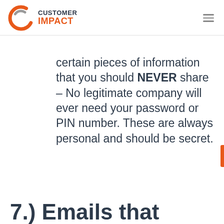CUSTOMER IMPACT
certain pieces of information that you should NEVER share – No legitimate company will ever need your password or PIN number. These are always personal and should be secret.
7.) Emails that